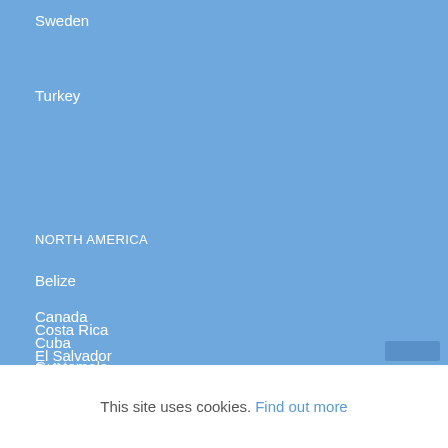Sweden
Turkey
NORTH AMERICA
Belize
Canada
Costa Rica
Cuba
El Salvador
Guatemala
This site uses cookies. Find out more